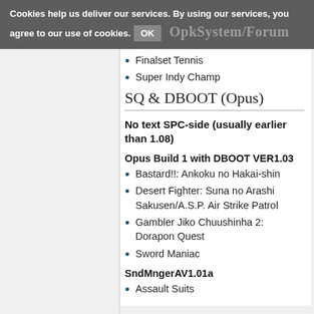Cookies help us deliver our services. By using our services, you agree to our use of cookies. OK | OpkSystem/Forum
Finalset Tennis
Super Indy Champ
SQ & DBOOT (Opus)
No text SPC-side (usually earlier than 1.08)
Opus Build 1 with DBOOT VER1.03
Bastard!!: Ankoku no Hakai-shin
Desert Fighter: Suna no Arashi Sakusen/A.S.P. Air Strike Patrol
Gambler Jiko Chuushinha 2: Dorapon Quest
Sword Maniac
SndMngerAV1.01a
Assault Suits